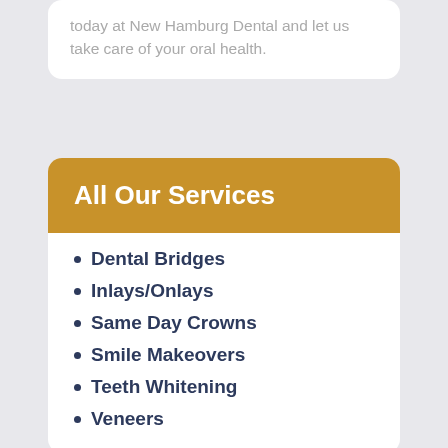today at New Hamburg Dental and let us take care of your oral health.
All Our Services
Dental Bridges
Inlays/Onlays
Same Day Crowns
Smile Makeovers
Teeth Whitening
Veneers